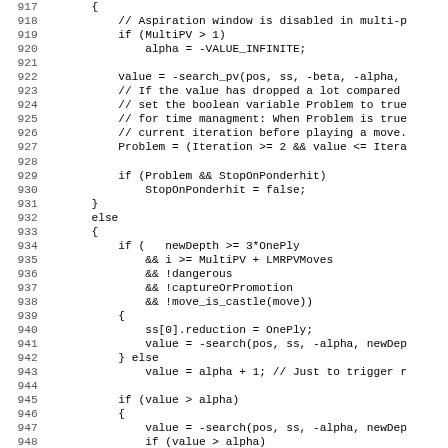[Figure (other): Source code listing lines 917-948 of a chess engine C++ file showing aspiration window, search_pv, problem detection, and LMR/LMP search logic]